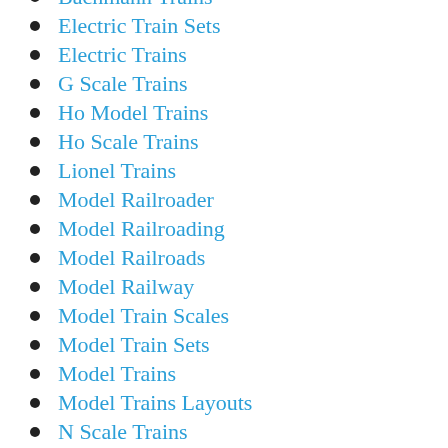Bachmann Trains
Electric Train Sets
Electric Trains
G Scale Trains
Ho Model Trains
Ho Scale Trains
Lionel Trains
Model Railroader
Model Railroading
Model Railroads
Model Railway
Model Train Scales
Model Train Sets
Model Trains
Model Trains Layouts
N Scale Trains
News